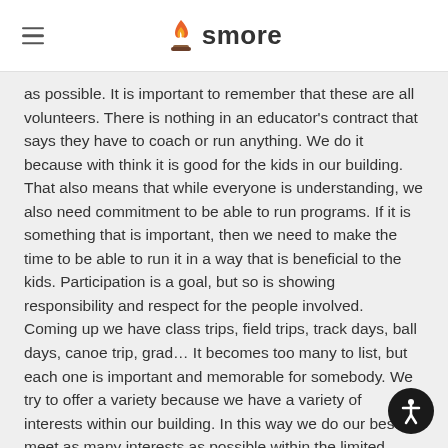smore
as possible. It is important to remember that these are all volunteers. There is nothing in an educator's contract that says they have to coach or run anything. We do it because with think it is good for the kids in our building. That also means that while everyone is understanding, we also need commitment to be able to run programs. If it is something that is important, then we need to make the time to be able to run it in a way that is beneficial to the kids. Participation is a goal, but so is showing responsibility and respect for the people involved.
Coming up we have class trips, field trips, track days, ball days, canoe trip, grad… It becomes too many to list, but each one is important and memorable for somebody. We try to offer a variety because we have a variety of interests within our building. In this way we do our best to meet as many interests as possible within the limited number of people we have on staff.